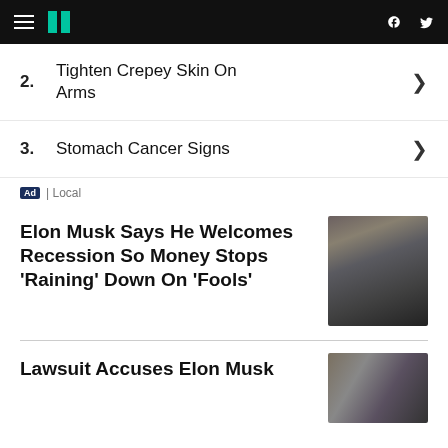HuffPost
2. Tighten Crepey Skin On Arms
3. Stomach Cancer Signs
Ad | Local
Elon Musk Says He Welcomes Recession So Money Stops 'Raining' Down On 'Fools'
[Figure (photo): Photo of Elon Musk in dark suit]
Lawsuit Accuses Elon Musk